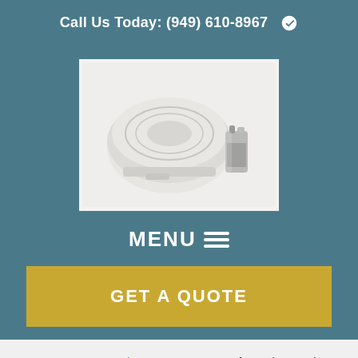Call Us Today: (949) 610-8967
[Figure (photo): A white circular smoke/carbon monoxide detector next to a 9-volt battery, on a white background]
MENU ☰
GET A QUOTE
Home > Insurance Blog > Ways To Be Safe Against Carbon Monoxide In Your Home